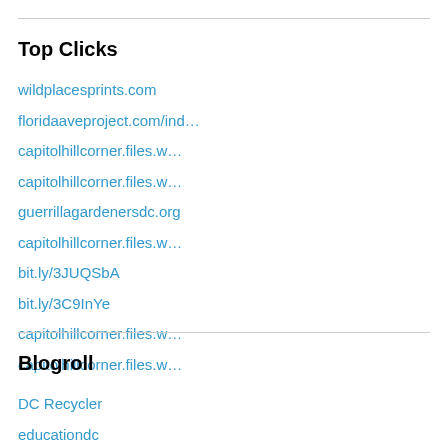Top Clicks
wildplacesprints.com
floridaaveproject.com/ind…
capitolhillcorner.files.w…
capitolhillcorner.files.w…
guerrillagardenersdc.org
capitolhillcorner.files.w…
bit.ly/3JUQSbA
bit.ly/3C9InYe
capitolhillcorner.files.w…
capitolhillcorner.files.w…
Blogroll
DC Recycler
educationdc
Sociology in My Neighborhood: DC Ward Six